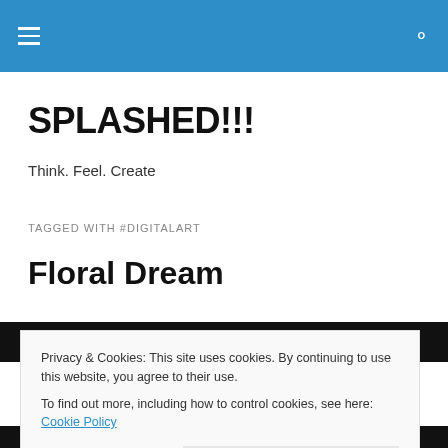SPLASHED!!! [navigation header with hamburger menu and search icon]
SPLASHED!!!
Think. Feel. Create
TAGGED WITH #DIGITALART
Floral Dream
[Figure (photo): Dark artistic image strip at top, partially visible]
Privacy & Cookies: This site uses cookies. By continuing to use this website, you agree to their use.
To find out more, including how to control cookies, see here: Cookie Policy
[Close and accept button]
[Figure (photo): Dark artistic image at bottom, partially visible]